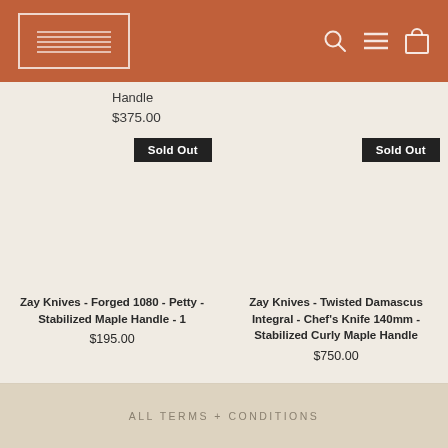Zay Knives store header with logo and navigation icons
Handle
$375.00
Sold Out
Sold Out
Zay Knives - Forged 1080 - Petty - Stabilized Maple Handle - 1
$195.00
Zay Knives - Twisted Damascus Integral - Chef's Knife 140mm - Stabilized Curly Maple Handle
$750.00
ALL TERMS + CONDITIONS